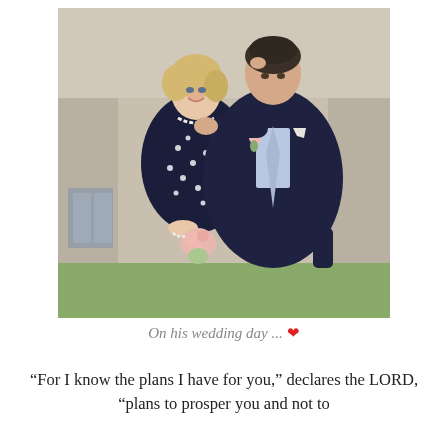[Figure (photo): A couple on a wedding day. A smiling blonde woman in a dark navy polka-dot dress holding pink roses, wearing a pearl necklace and pearl bracelet, being kissed on the head by a tall man in a dark navy suit with a light blue tie and a pink rose boutonniere. They are standing outside in front of a stone building.]
On his wedding day ... ❤
"For I know the plans I have for you," declares the LORD, "plans to prosper you and not to